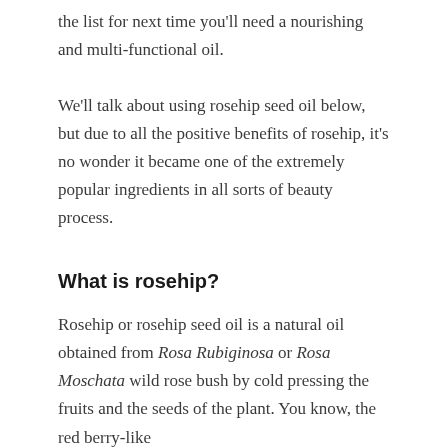the list for next time you'll need a nourishing and multi-functional oil.
We'll talk about using rosehip seed oil below, but due to all the positive benefits of rosehip, it's no wonder it became one of the extremely popular ingredients in all sorts of beauty process.
What is rosehip?
Rosehip or rosehip seed oil is a natural oil obtained from Rosa Rubiginosa or Rosa Moschata wild rose bush by cold pressing the fruits and the seeds of the plant. You know, the red berry-like